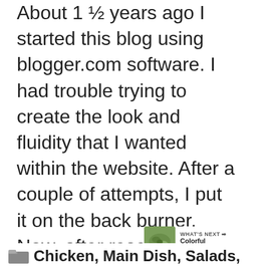About 1 ½ years ago I started this blog using blogger.com software. I had trouble trying to create the look and fluidity that I wanted within the website. After a couple of attempts, I put it on the back burner. Now, after researching and finding WordPress.com software I am once again embarking on this adventure! I … Read more
[Figure (other): Red circular like/heart button with white heart icon, count of 1, and share button below]
[Figure (photo): WHAT'S NEXT arrow label with thumbnail of colorful Christmas food/salad and text 'Colorful Christmas...']
Chicken, Main Dish, Salads,